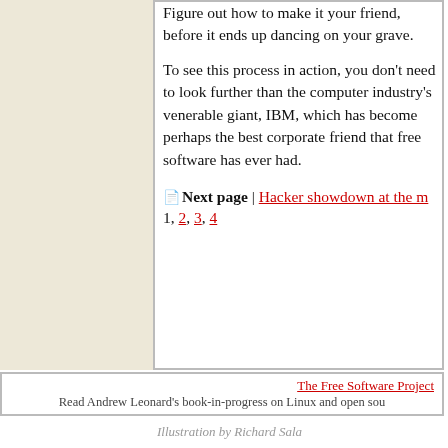Figure out how to make it your friend, before it ends up dancing on your grave.
To see this process in action, you don't need to look further than the computer industry's venerable giant, IBM, which has become perhaps the best corporate friend that free software has ever had.
Next page | Hacker showdown at the m... 1, 2, 3, 4
Illustration by Richard Sala
The Free Software Project
Read Andrew Leonard's book-in-progress on Linux and open sou...